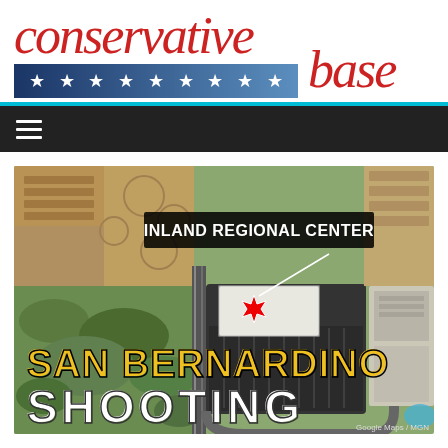conservative base
[Figure (photo): Aerial satellite view of Inland Regional Center in San Bernardino, California, showing the building complex from above with surrounding fields and roads. A label box reads 'INLAND REGIONAL CENTER' with a connector line pointing to the building. A red starburst marker indicates the incident location. Overlaid text at the bottom reads 'SAN BERNARDINO SHOOTING' in large bold yellow and white text. Attribution reads 'Google Maps / MGN' in the bottom right corner.]